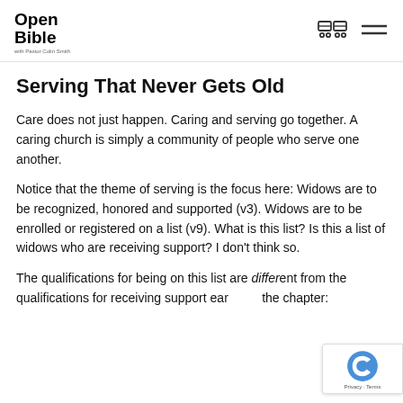Open the Bible with Pastor Colin Smith
Serving That Never Gets Old
Care does not just happen. Caring and serving go together. A caring church is simply a community of people who serve one another.
Notice that the theme of serving is the focus here: Widows are to be recognized, honored and supported (v3). Widows are to be enrolled or registered on a list (v9). What is this list? Is this a list of widows who are receiving support? I don't think so.
The qualifications for being on this list are different from the qualifications for receiving support earlier in the chapter: